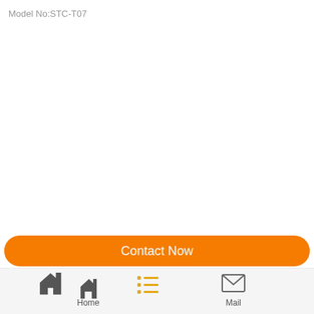Model No:STC-T07
[Figure (screenshot): Mobile app product page UI with orange Contact Now button and bottom navigation bar with Home, list, and Mail icons]
Contact Now
[Figure (infographic): Bottom navigation bar with Home icon, list/menu icon in orange/yellow, and Mail envelope icon, with labels Home and Mail]